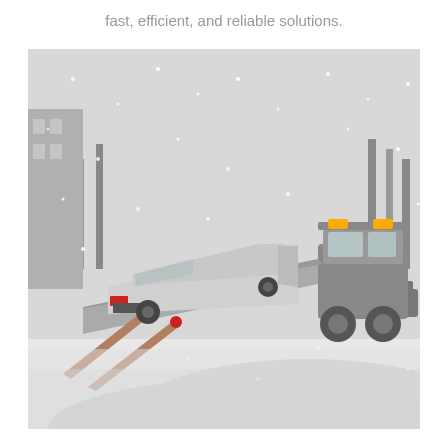fast, efficient, and reliable solutions.
[Figure (photo): A white car being loaded onto a flatbed tow truck on a snowy winter road with snowfall visible, trees in the background]